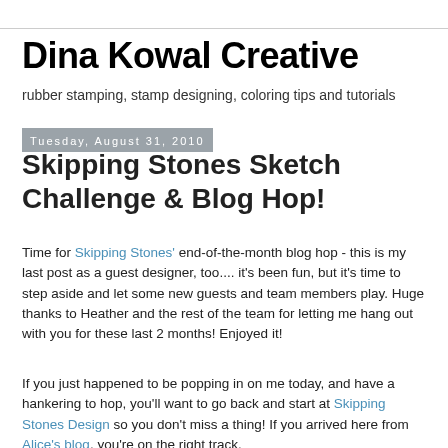Dina Kowal Creative
rubber stamping, stamp designing, coloring tips and tutorials
Tuesday, August 31, 2010
Skipping Stones Sketch Challenge & Blog Hop!
Time for Skipping Stones' end-of-the-month blog hop - this is my last post as a guest designer, too.... it's been fun, but it's time to step aside and let some new guests and team members play. Huge thanks to Heather and the rest of the team for letting me hang out with you for these last 2 months! Enjoyed it!
If you just happened to be popping in on me today, and have a hankering to hop, you'll want to go back and start at Skipping Stones Design so you don't miss a thing! If you arrived here from Alice's blog, you're on the right track.